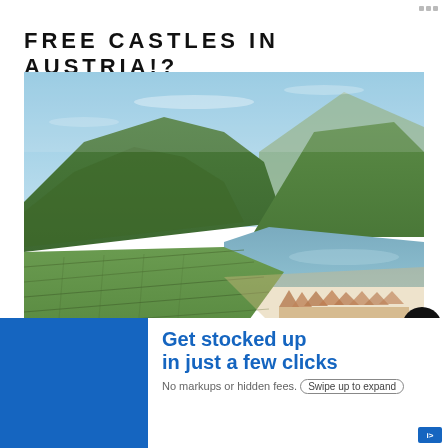FREE CASTLES IN AUSTRIA!?
[Figure (photo): Aerial/elevated landscape photo of Austrian Wachau valley showing terraced vineyards, a small riverside village, the Danube river, and green forested mountains under a blue sky.]
1.8K
[Figure (infographic): Advertisement banner: 'Get stocked up in just a few clicks. No markups or hidden fees. Swipe up to expand.' with blue branding on white background.]